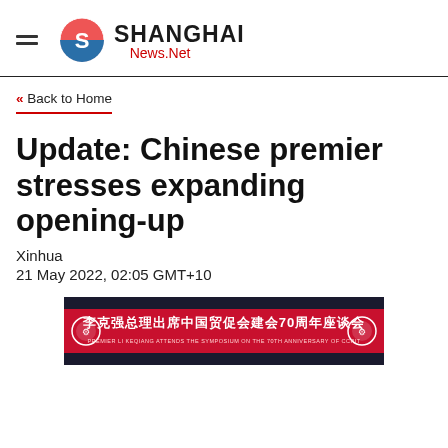Shanghai News.Net
« Back to Home
Update: Chinese premier stresses expanding opening-up
Xinhua
21 May 2022, 02:05 GMT+10
[Figure (photo): Banner image showing Chinese text: 李克强总理出席中国贸促会建会70周年座谈会, with subtitle: PREMIER LI KEQIANG ATTENDS THE SYMPOSIUM ON THE 70TH ANNIVERSARY OF CCPIT]